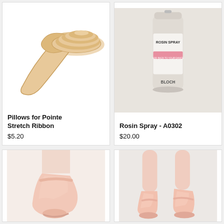[Figure (photo): Rolled satin stretch ribbon in nude/beige color for ballet pointe shoes]
Pillows for Pointe Stretch Ribbon
$5.20
[Figure (photo): Rosin Spray can labeled A0302 with pink band, used for ballet shoes]
Rosin Spray - A0302
$20.00
[Figure (photo): Close-up of ballet pointe shoe on a dancer's foot with satin ribbon]
[Figure (photo): Two ballet pointe shoes on dancer's feet en pointe, light pink satin]